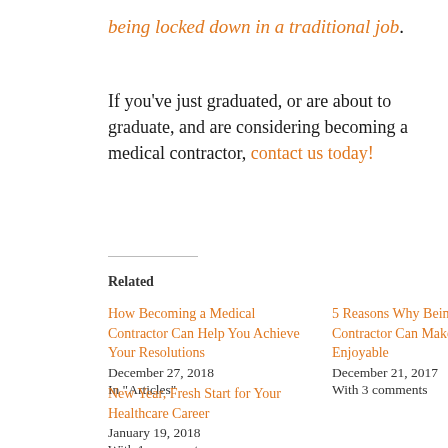being locked down in a traditional job.
If you've just graduated, or are about to graduate, and are considering becoming a medical contractor, contact us today!
Related
How Becoming a Medical Contractor Can Help You Achieve Your Resolutions
December 27, 2018
In "Articles"
5 Reasons Why Being a Medical Contractor Can Make Work More Enjoyable
December 21, 2017
With 3 comments
New Year, Fresh Start for Your Healthcare Career
January 19, 2018
With 1 comment